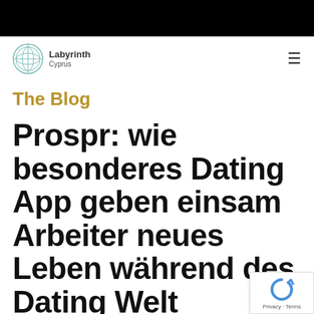[Figure (logo): Labyrinth Cyprus circular logo with decorative globe/maze pattern, text 'Labyrinth Cyprus']
The Blog
Prospr: wie besonderes Dating App geben einsam Arbeiter neues Leben während des Dating Welt